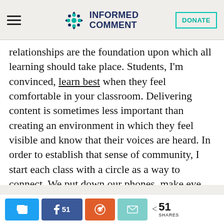Informed Comment — DONATE
relationships are the foundation upon which all learning should take place. Students, I'm convinced, learn best when they feel comfortable in your classroom. Delivering content is sometimes less important than creating an environment in which they feel visible and know that their voices are heard. In order to establish that sense of community, I start each class with a circle as a way to connect. We put down our phones, make eye contact, and simply share what's
51 shares (Twitter, Facebook 51, Reddit, Email)